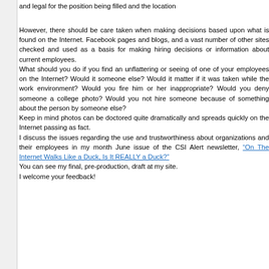and legal for the position being filled and the location
However, there should be care taken when making decisions based upon what is found on the Internet. Facebook pages and blogs, and a vast number of other sites checked and used as a basis for making hiring decisions or information about current employees. What should you do if you find an unflattering or seeing of one of your employees on the Internet? Would it someone else? Would it matter if it was taken while the work environment? Would you fire him or her inappropriate? Would you deny someone a college photo? Would you not hire someone because of something about the person by someone else? Keep in mind photos can be doctored quite dramatically and spreads quickly on the Internet passing as fact. I discuss the issues regarding the use and trustworthiness about organizations and their employees in my month June issue of the CSI Alert newsletter, “On The Internet Walks Like a Duck, Is It REALLY a Duck?” You can see my final, pre-production, draft at my site. I welcome your feedback!